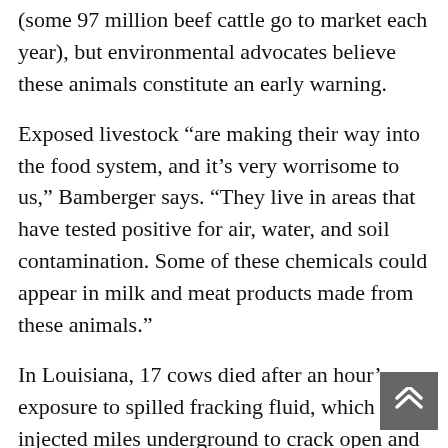(some 97 million beef cattle go to market each year), but environmental advocates believe these animals constitute an early warning.
Exposed livestock “are making their way into the food system, and it’s very worrisome to us,” Bamberger says. “They live in areas that have tested positive for air, water, and soil contamination. Some of these chemicals could appear in milk and meat products made from these animals.”
In Louisiana, 17 cows died after an hour’s exposure to spilled fracking fluid, which is injected miles underground to crack open and release pockets of natural gas. The most likely cause of death: respiratory failure.
In New Mexico, hair testing of sick cattle that grazed near well pads found petroleum…